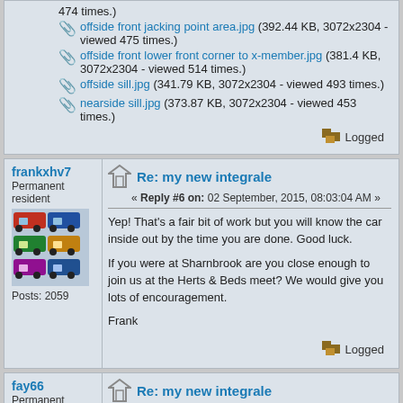474 times.)
offside front jacking point area.jpg (392.44 KB, 3072x2304 - viewed 475 times.)
offside front lower front corner to x-member.jpg (381.4 KB, 3072x2304 - viewed 514 times.)
offside sill.jpg (341.79 KB, 3072x2304 - viewed 493 times.)
nearside sill.jpg (373.87 KB, 3072x2304 - viewed 453 times.)
Logged
frankxhv7
Permanent resident
Posts: 2059
Re: my new integrale
« Reply #6 on: 02 September, 2015, 08:03:04 AM »
Yep! That's a fair bit of work but you will know the car inside out by the time you are done. Good luck.

If you were at Sharnbrook are you close enough to join us at the Herts & Beds meet? We would give you lots of encouragement.

Frank
Logged
fay66
Permanent resident
Re: my new integrale
« Reply #7 on: 02 September, 2015, 10:56:15 AM »
Quote from: Kevinlincs on 01 September, 2015, 06:55:51 PM
hi brian